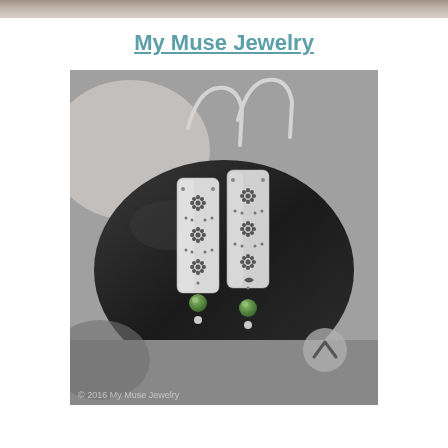[Figure (photo): Top decorative photo strip showing a textured background]
My Muse Jewelry
[Figure (photo): Photo of two silver drop earrings with flower/daisy stamp designs and green stone beads, resting on a dark stone. A scroll-up arrow button is visible in the bottom right corner of the photo. Watermark reads: © 2016 My Muse Jewelry]